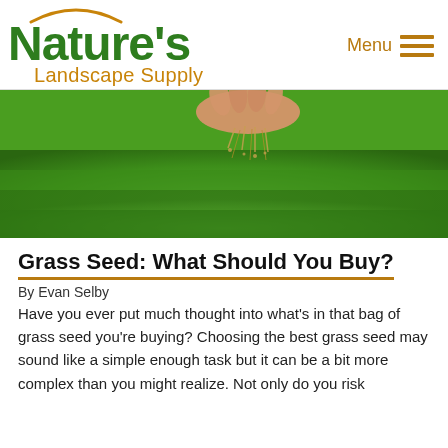Nature's Landscape Supply — Menu
[Figure (photo): A hand scattering grass seed over lush green grass from close up, with blurred green background.]
Grass Seed: What Should You Buy?
By Evan Selby
Have you ever put much thought into what's in that bag of grass seed you're buying? Choosing the best grass seed may sound like a simple enough task but it can be a bit more complex than you might realize. Not only do you risk